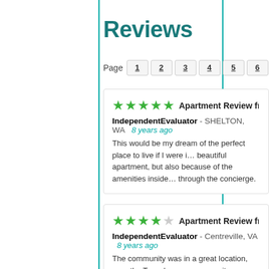Reviews
Page 1 2 3 4 5 6 7 8 9 10
★★★★★ Apartment Review from an Independent Evaluator
IndependentEvaluator - SHELTON, WA  8 years ago
This would be my dream of the perfect place to live if I were i... beautiful apartment, but also because of the amenities inside... through the concierge.
★★★★☆ Apartment Review from an Independent Evaluator
IndependentEvaluator - Centreville, VA  8 years ago
The community was in a great location, near the Tyson's cor... community was fairly new so everything looked nice and con...
★★★★★ Apartment Review from an Independent...